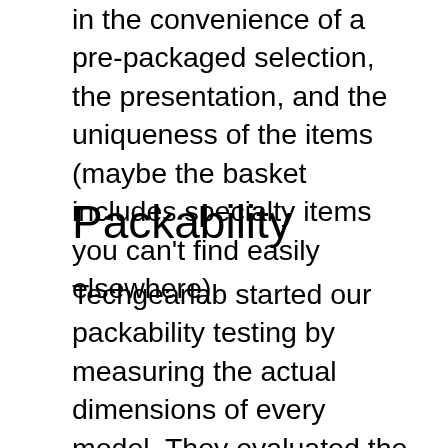in the convenience of a pre-packaged selection, the presentation, and the uniqueness of the items (maybe the basket includes specialty items you can't find easily elsewhere).
Packability
Techgearlab started our packability testing by measuring the actual dimensions of every model. They evaluated the diversity of objects they could fit inside and considered the efficiency of their overall size vs. capacity. We jammed them to the brim and then tried to find specific objects buried within. We tested lids and latches, considering their effectiveness and ease of use. We also took into account the optional